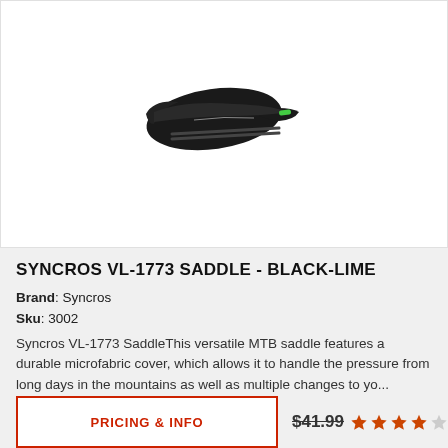[Figure (photo): Black-lime Syncros VL-1773 bicycle saddle product photo on white background]
SYNCROS VL-1773 SADDLE - BLACK-LIME
Brand: Syncros
Sku: 3002
Syncros VL-1773 SaddleThis versatile MTB saddle features a durable microfabric cover, which allows it to handle the pressure from long days in the mountains as well as multiple changes to yo...
PRICING & INFO
$41.99